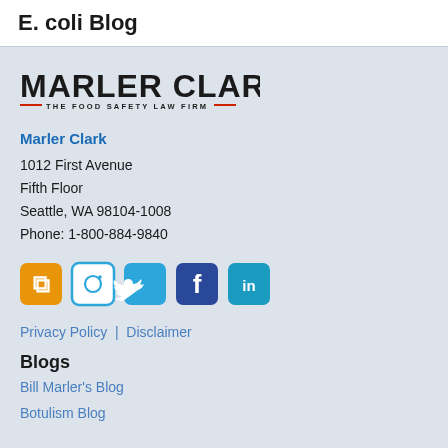E. coli Blog
[Figure (logo): Marler Clark – The Food Safety Law Firm logo with red decorative lines under the firm name]
Marler Clark
1012 First Avenue
Fifth Floor
Seattle, WA 98104-1008
Phone: 1-800-884-9840
[Figure (infographic): Row of five social media icons: RSS (orange), Instagram (white/blue outline), Twitter (blue), Facebook (dark blue), LinkedIn (teal)]
Privacy Policy | Disclaimer
Blogs
Bill Marler's Blog
Botulism Blog